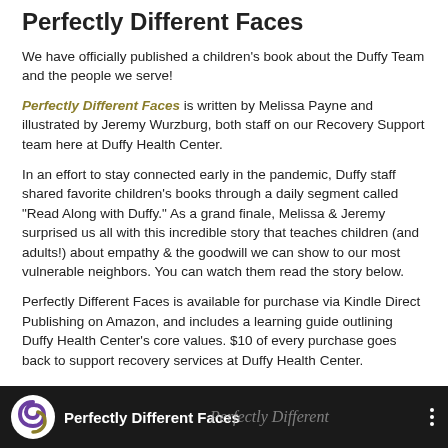Perfectly Different Faces
We have officially published a children's book about the Duffy Team and the people we serve!
Perfectly Different Faces is written by Melissa Payne and illustrated by Jeremy Wurzburg, both staff on our Recovery Support team here at Duffy Health Center.
In an effort to stay connected early in the pandemic, Duffy staff shared favorite children's books through a daily segment called “Read Along with Duffy.” As a grand finale, Melissa & Jeremy surprised us all with this incredible story that teaches children (and adults!) about empathy & the goodwill we can show to our most vulnerable neighbors. You can watch them read the story below.
Perfectly Different Faces is available for purchase via Kindle Direct Publishing on Amazon, and includes a learning guide outlining Duffy Health Center’s core values. $10 of every purchase goes back to support recovery services at Duffy Health Center.
[Figure (screenshot): Video thumbnail with dark background showing Duffy Health Center logo (purple and olive swirl) and the text 'Perfectly Different Faces' in white, with a cursive overlay and three-dot menu icon.]